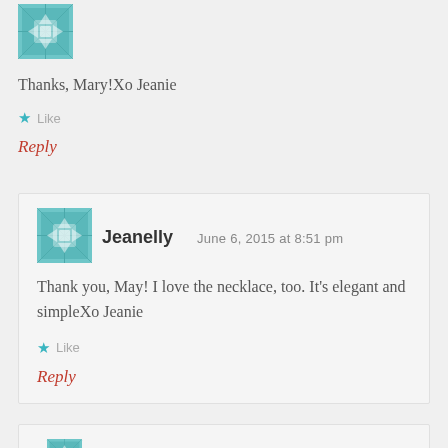[Figure (illustration): Teal quilt-pattern avatar icon (partial, top of page)]
Thanks, Mary!Xo Jeanie
★ Like
Reply
[Figure (illustration): Teal quilt-pattern avatar icon for Jeanelly]
Jeanelly   June 6, 2015 at 8:51 pm
Thank you, May! I love the necklace, too. It's elegant and simpleXo Jeanie
★ Like
Reply
[Figure (illustration): Teal quilt-pattern avatar icon (partial, bottom of page)]